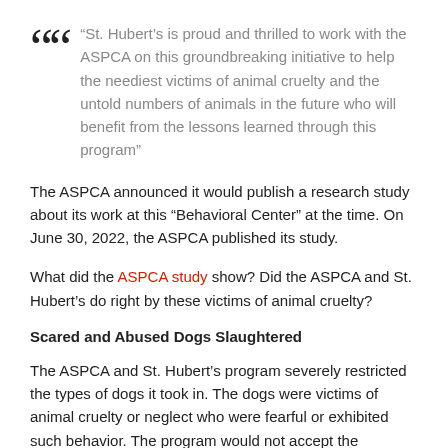“St. Hubert’s is proud and thrilled to work with the ASPCA on this groundbreaking initiative to help the neediest victims of animal cruelty and the untold numbers of animals in the future who will benefit from the lessons learned through this program”
The ASPCA announced it would publish a research study about its work at this “Behavioral Center” at the time. On June 30, 2022, the ASPCA published its study.
What did the ASPCA study show? Did the ASPCA and St. Hubert’s do right by these victims of animal cruelty?
Scared and Abused Dogs Slaughtered
The ASPCA and St. Hubert’s program severely restricted the types of dogs it took in. The dogs were victims of animal cruelty or neglect who were fearful or exhibited such behavior. The program would not accept the following types of dogs: